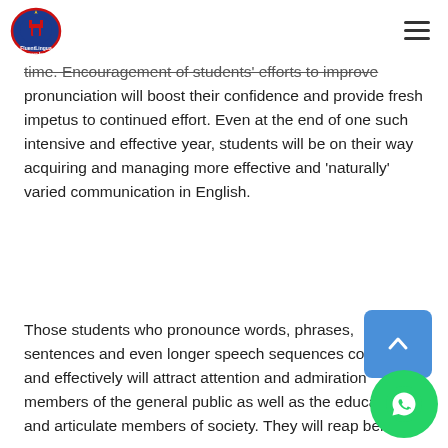FluentLingua – A Language Academy (logo and navigation)
time. Encouragement of students' efforts to improve pronunciation will boost their confidence and provide fresh impetus to continued effort. Even at the end of one such intensive and effective year, students will be on their way acquiring and managing more effective and 'naturally' varied communication in English.
Those students who pronounce words, phrases, sentences and even longer speech sequences correctly and effectively will attract attention and admiration from members of the general public as well as the educated and articulate members of society. They will reap benefits